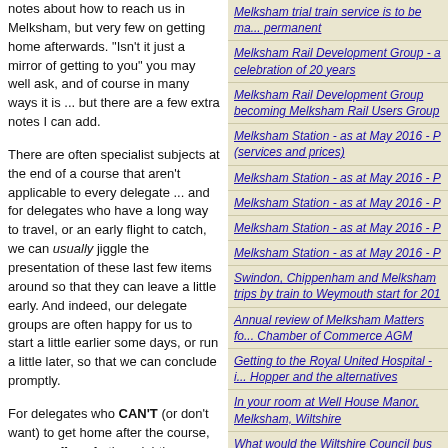notes about how to reach us in Melksham, but very few on getting home afterwards. "Isn't it just a mirror of getting to you" you may well ask, and of course in many ways it is ... but there are a few extra notes I can add.
There are often specialist subjects at the end of a course that aren't applicable to every delegate ... and for delegates who have a long way to travel, or an early flight to catch, we can usually jiggle the presentation of these last few items around so that they can leave a little early. And indeed, our delegate groups are often happy for us to start a little earlier some days, or run a little later, so that we can conclude promptly.
For delegates who CAN'T (or don't want) to get home after the course, we can offer a further night's accommodation. And we can then drop them off for the 07:17 train, or arrange an early taxi to the airport. Some regular customers who fly to the USA leave before it's light, even in summer, but we can still provide breakfast (I was here at 04:00 this morning - early and unusual even for
Melksham trial train service is to be made permanent
Melksham Rail Development Group - a celebration of 20 years
Melksham Rail Development Group becoming Melksham Rail Users Group
Melksham Station - as at May 2016 - (services and prices)
Melksham Station - as at May 2016 - P
Melksham Station - as at May 2016 - P
Melksham Station - as at May 2016 - P
Melksham Station - as at May 2016 - P
Swindon, Chippenham and Melksham trips by train to Weymouth start for 201
Annual review of Melksham Matters for Chamber of Commerce AGM
Getting to the Royal United Hospital - Hopper and the alternatives
In your room at Well House Manor, Melksham, Wiltshire
What would the Wiltshire Council bus mean for Melksham?
A comparison of the public transport alternatives to the Royal United Hospital Bath - from Melksham.